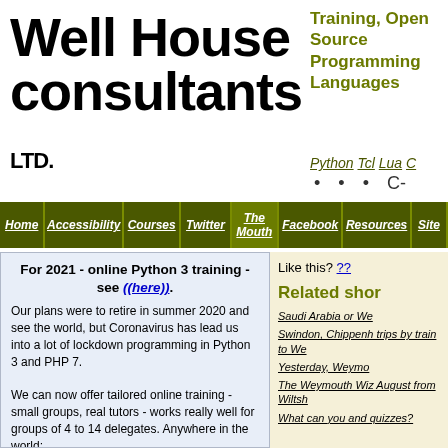[Figure (logo): Well House Consultants LTD. logo in large bold black text]
Training, Open Source Programming Languages
Python Tcl Lua C • • • C-
Home | Accessibility | Courses | Twitter | The Mouth | Facebook | Resources | Site
For 2021 - online Python 3 training - see ((here)).
Our plans were to retire in summer 2020 and see the world, but Coronavirus has lead us into a lot of lockdown programming in Python 3 and PHP 7.
We can now offer tailored online training - small groups, real tutors - works really well for groups of 4 to 14 delegates. Anywhere in the world;
Like this? ??
Related shor
Saudi Arabia or We
Swindon, Chippenh trips by train to We
Yesterday, Weymo
The Weymouth Wiz August from Wiltsh
What can you and quizzes?